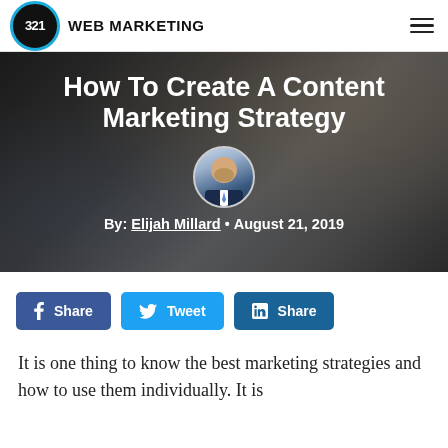321 WEB MARKETING
[Figure (photo): Hero banner with dark overlay showing hands writing at a desk, with large white bold title text 'How To Create A Content Marketing Strategy' and author photo with byline 'By: Elijah Millard • August 21, 2019']
How To Create A Content Marketing Strategy
By: Elijah Millard • August 21, 2019
[Figure (infographic): Social share buttons: Facebook Share, Twitter Tweet, LinkedIn Share]
It is one thing to know the best marketing strategies and how to use them individually. It is